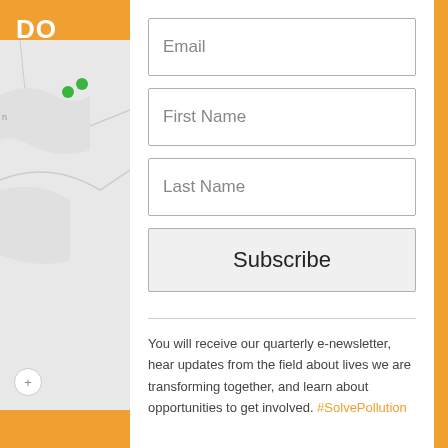DO
[Figure (map): Partial map view with green dots indicating locations, gray background]
Email
First Name
Last Name
Subscribe
You will receive our quarterly e-newsletter, hear updates from the field about lives we are transforming together, and learn about opportunities to get involved. #SolvePollution